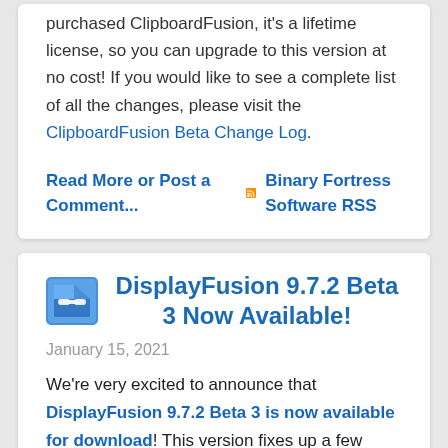purchased ClipboardFusion, it's a lifetime license, so you can upgrade to this version at no cost! If you would like to see a complete list of all the changes, please visit the ClipboardFusion Beta Change Log.
Read More or Post a Comment...   Binary Fortress Software RSS
DisplayFusion 9.7.2 Beta 3 Now Available!
January 15, 2021
We're very excited to announce that DisplayFusion 9.7.2 Beta 3 is now available for download! This version fixes up a few more regressions that were found in 9.7.1. It also fixes